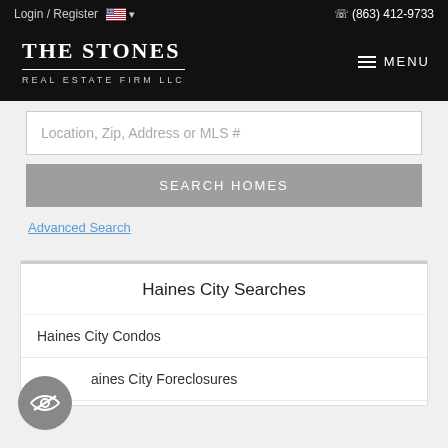Login / Register   (863) 412-9733
THE STONES REAL ESTATE FIRM LLC
Location, Zip, Address or MLS #
SEARCH HOMES
Advanced Search
Haines City Searches
Haines City Condos
Haines City Foreclosures